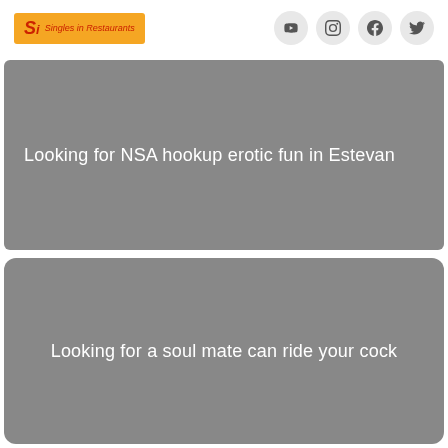Singles in Restaurants — Social media icons: YouTube, Instagram, Facebook, Twitter
Looking for NSA hookup erotic fun in Estevan
Looking for a soul mate can ride your cock